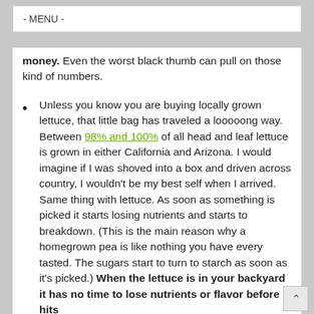- MENU -
money.  Even the worst black thumb can pull on those kind of numbers.
Unless you know you are buying locally grown lettuce, that little bag has traveled a looooong way.  Between 98% and 100% of all head and leaf lettuce is grown in either California and Arizona.  I would imagine if I was shoved into a box and driven across country, I wouldn't be my best self when I arrived.  Same thing with lettuce. As soon as something is picked it starts losing nutrients and starts to breakdown.  (This is the main reason why a homegrown pea is like nothing you have every tasted.  The sugars start to turn to starch as soon as it's picked.)  When the lettuce is in your backyard it has no time to lose nutrients or flavor before it hits